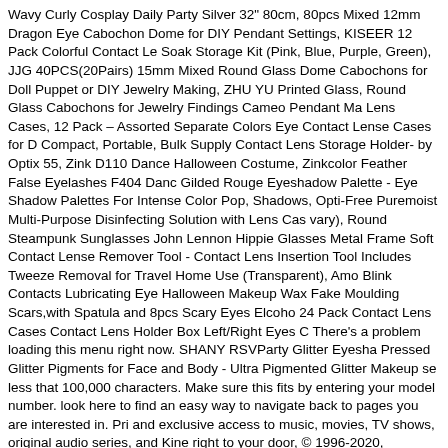Wavy Curly Cosplay Daily Party Silver 32" 80cm, 80pcs Mixed 12mm Dragon Eye Cabochon Dome for DIY Pendant Settings, KISEER 12 Pack Colorful Contact Lens Soak Storage Kit (Pink, Blue, Purple, Green), JJG 40PCS(20Pairs) 15mm Mixed Round Glass Dome Cabochons for Doll Puppet or DIY Jewelry Making, ZHU YU Printed Glass, Round Glass Cabochons for Jewelry Findings Cameo Pendant Ma Lens Cases, 12 Pack – Assorted Separate Colors Eye Contact Lense Cases for Compact, Portable, Bulk Supply Contact Lens Storage Holder- by Optix 55, Zink D110 Dance Halloween Costume, Zinkcolor Feather False Eyelashes F404 Dance Gilded Rouge Eyeshadow Palette - Eye Shadow Palettes For Intense Color Pop, Shadows, Opti-Free Puremoist Multi-Purpose Disinfecting Solution with Lens Case vary), Round Steampunk Sunglasses John Lennon Hippie Glasses Metal Frame Soft Contact Lense Remover Tool - Contact Lens Insertion Tool Includes Tweeze Removal for Travel Home Use (Transparent), Amo Blink Contacts Lubricating Eye Halloween Makeup Wax Fake Moulding Scars,with Spatula and 8pcs Scary Eyes Elcoho 24 Pack Contact Lens Cases Contact Lens Holder Box Left/Right Eyes C There's a problem loading this menu right now. SHANY RSVParty Glitter Eyesha Pressed Glitter Pigments for Face and Body - Ultra Pigmented Glitter Makeup se less that 100,000 characters. Make sure this fits by entering your model number. look here to find an easy way to navigate back to pages you are interested in. Pri and exclusive access to music, movies, TV shows, original audio series, and Kine right to your door, © 1996-2020, Amazon.com, Inc. or its affiliates.
Self Discipline Youtube, Kaizen Training Material, Csn Morgan Silver Dollars, Self Tuba Valves, Air Bud Cast, Nickel Carbonate And Hydrochloric Acid Observations
[Figure (other): Social share buttons: LinkedIn Share button, Twitter Tweetar button, and four small image placeholders]